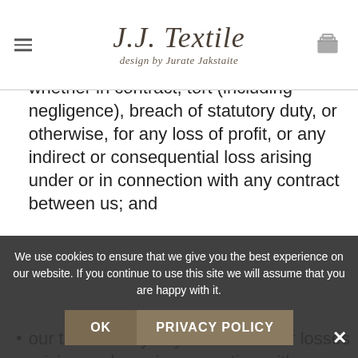[Figure (logo): J.J. Textile logo with text 'design by Jurate Jakstaite']
whether in contract, tort (including negligence), breach of statutory duty, or otherwise, for any loss of profit, or any indirect or consequential loss arising under or in connection with any contract between us; and
our total liability to you for all other losses arising under or in connection with any contract between us, whether in contract, tort (including negligence), breach of statutory duty, or otherwise,
We use cookies to ensure that we give you the best experience on our website. If you continue to use this site we will assume that you are happy with it.